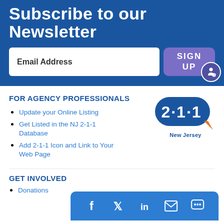Subscribe to our Newsletter
Email Address
SIGN UP
FOR AGENCY PROFESSIONALS
Update your Online Listing
Get Listed in the NJ 2-1-1 Database
Add 2-1-1 Icon and Link to Your Web Page
[Figure (logo): 2·1·1 New Jersey logo — blue pill-shaped badge with white bold text '2·1·1' and 'New Jersey' label below, with orange accent]
GET INVOLVED
Donations
[Figure (infographic): Blue social media bar with icons for Facebook, Twitter, LinkedIn, Email, and Chat/SMS]